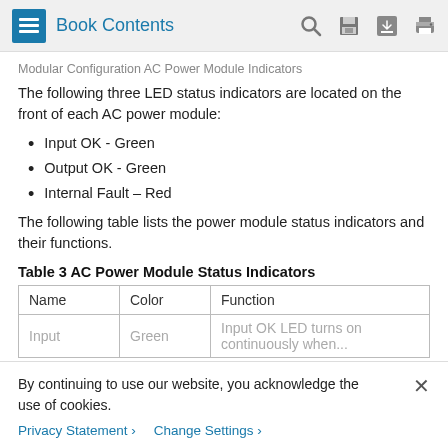Book Contents
Modular Configuration AC Power Module Indicators
The following three LED status indicators are located on the front of each AC power module:
Input OK - Green
Output OK - Green
Internal Fault – Red
The following table lists the power module status indicators and their functions.
Table 3 AC Power Module Status Indicators
| Name | Color | Function |
| --- | --- | --- |
| Input | Green | Input OK LED turns on continuously when... |
By continuing to use our website, you acknowledge the use of cookies.
Privacy Statement >   Change Settings >